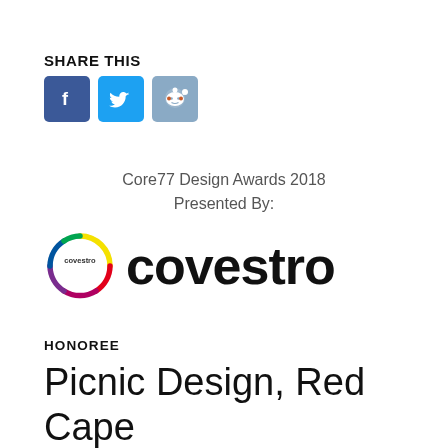SHARE THIS
[Figure (infographic): Social share buttons: Facebook (blue), Twitter (light blue), Reddit (grey-blue)]
Core77 Design Awards 2018
Presented By:
[Figure (logo): Covestro logo: circular rainbow ring icon with 'covestro' text inside, followed by large bold 'covestro' wordmark]
HONOREE
Picnic Design, Red Cape Studio